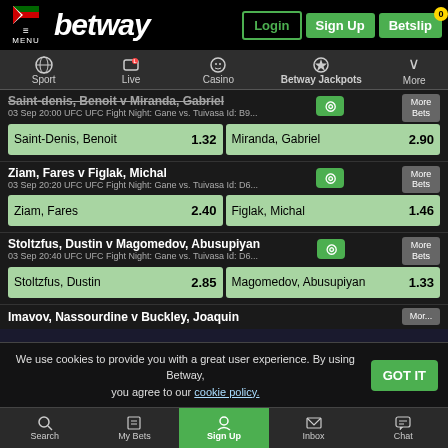[Figure (screenshot): Betway Kenya sports betting mobile website screenshot showing UFC Fight Night matches with odds]
betway | Login | Sign Up | Betslip 0
Saint-denis, Benoit v Miranda, Gabriel
03 Sep 20:00 UFC UFC Fight Night: Gane vs. Tuivasa Id: B9...
Saint-Denis, Benoit 1.32 | Miranda, Gabriel 2.90
Ziam, Fares v Figlak, Michal
03 Sep 20:20 UFC UFC Fight Night: Gane vs. Tuivasa Id: D6...
Ziam, Fares 2.40 | Figlak, Michal 1.46
Stoltzfus, Dustin v Magomedov, Abusupiyan
03 Sep 20:40 UFC UFC Fight Night: Gane vs. Tuivasa Id: D6...
Stoltzfus, Dustin 2.85 | Magomedov, Abusupiyan 1.33
Imavov, Nassourdine v Buckley, Joaquin
We use cookies to provide you with a great user experience. By using Betway, you agree to our cookie policy.
Search | My Bets | Sign Up | Inbox | Chat